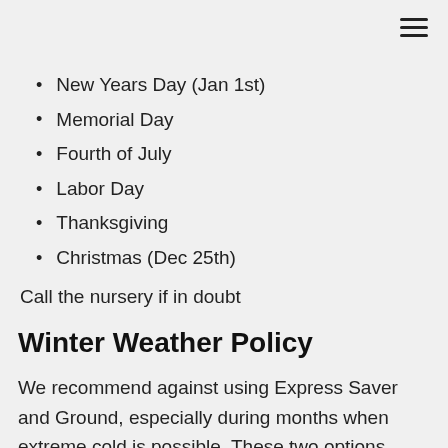New Years Day (Jan 1st)
Memorial Day
Fourth of July
Labor Day
Thanksgiving
Christmas (Dec 25th)
Call the nursery if in doubt
Winter Weather Policy
We recommend against using Express Saver and Ground, especially during months when extreme cold is possible. These two options prolong the time orchids are in transit, making them susceptible to harsh conditions. We can hold orders until weather warms upon request. It is up to you to notify us to hold a shipment and then notify us again when to ship it. If you are